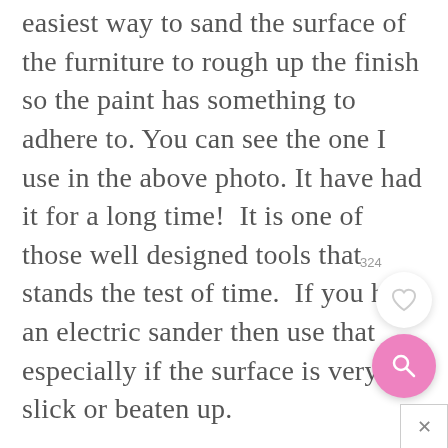easiest way to sand the surface of the furniture to rough up the finish so the paint has something to adhere to. You can see the one I use in the above photo. It have had it for a long time!  It is one of those well designed tools that stands the test of time.  If you have an electric sander then use that especially if the surface is very slick or beaten up.
[Figure (other): UI overlay elements: save count (324), heart/save button (white circle), pink search magnifier button, and close (x) button]